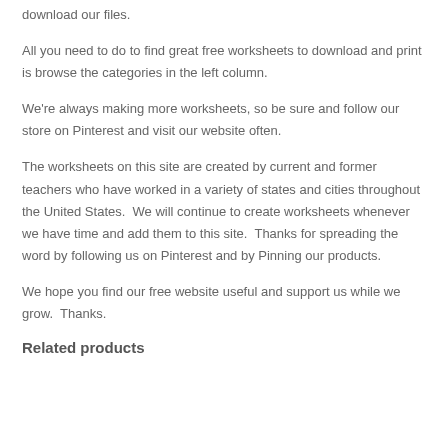download our files.
All you need to do to find great free worksheets to download and print is browse the categories in the left column.
We're always making more worksheets, so be sure and follow our store on Pinterest and visit our website often.
The worksheets on this site are created by current and former teachers who have worked in a variety of states and cities throughout the United States.  We will continue to create worksheets whenever we have time and add them to this site.  Thanks for spreading the word by following us on Pinterest and by Pinning our products.
We hope you find our free website useful and support us while we grow.  Thanks.
Related products